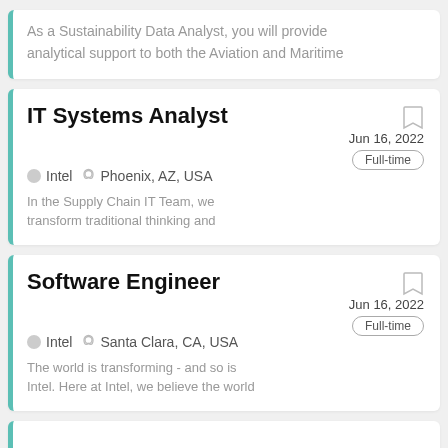As a Sustainability Data Analyst, you will provide analytical support to both the Aviation and Maritime
IT Systems Analyst
Intel   Phoenix, AZ, USA   Jun 16, 2022   Full-time
In the Supply Chain IT Team, we transform traditional thinking and
Software Engineer
Intel   Santa Clara, CA, USA   Jun 16, 2022   Full-time
The world is transforming - and so is Intel. Here at Intel, we believe the world